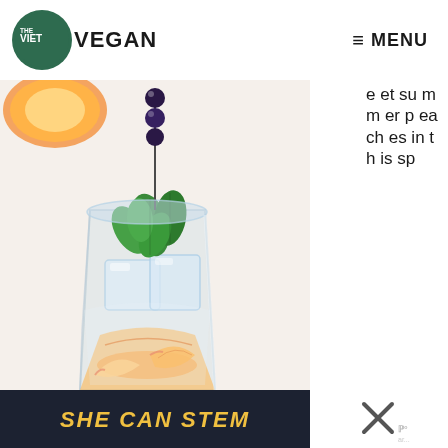[Figure (logo): The Viet Vegan logo: dark green circle with 'THE VIET' in white bold text and 'VEGAN' in dark bold text next to circle]
≡ MENU
[Figure (photo): A clear glass with peach slices, ice, mint leaves, and blueberries on a skewer, photographed on white background with a peach in the background]
e et summer peaches in this sp
[Figure (screenshot): Dark banner with bold yellow italic text reading 'SHE CAN STEM']
[Figure (other): Close X button icon]